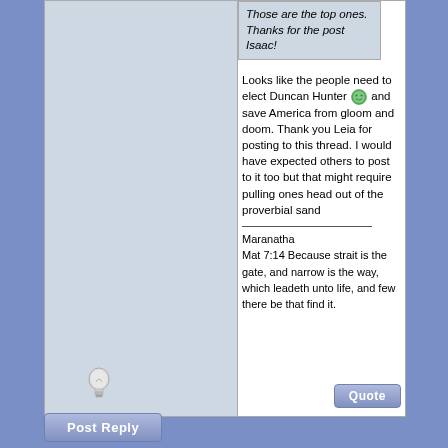Those are the top ones. Thanks for the post Isaac!
Looks like the people need to elect Duncan Hunter and save America from gloom and doom. Thank you Leia for posting to this thread. I would have expected others to post to it too but that might require pulling ones head out of the proverbial sand
Maranatha
Mat 7:14 Because strait is the gate, and narrow is the way, which leadeth unto life, and few there be that find it.